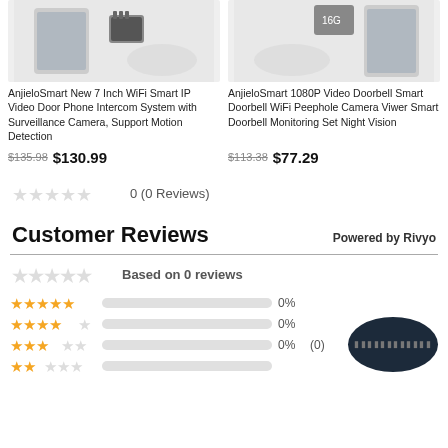[Figure (photo): Product image for AnjieloSmart New 7 Inch WiFi Smart IP Video Door Phone Intercom System]
[Figure (photo): Product image for AnjieloSmart 1080P Video Doorbell Smart Doorbell WiFi Peephole Camera]
AnjieloSmart New 7 Inch WiFi Smart IP Video Door Phone Intercom System with Surveillance Camera, Support Motion Detection
AnjieloSmart 1080P Video Doorbell Smart Doorbell WiFi Peephole Camera Viwer Smart Doorbell Monitoring Set Night Vision
$135.98 $130.99
$113.38 $77.29
0 (0 Reviews)
Customer Reviews
Powered by Rivyo
Based on 0 reviews
0%
0%
0% (0)